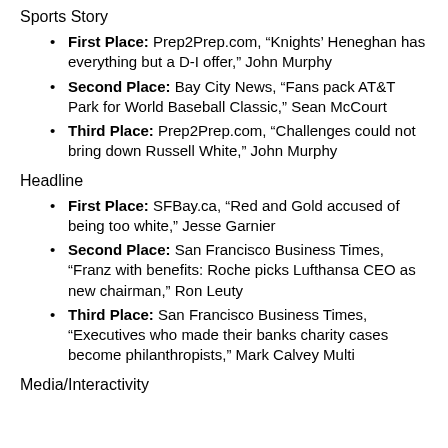Sports Story
First Place: Prep2Prep.com, “Knights’ Heneghan has everything but a D-I offer,” John Murphy
Second Place: Bay City News, “Fans pack AT&T Park for World Baseball Classic,” Sean McCourt
Third Place: Prep2Prep.com, “Challenges could not bring down Russell White,” John Murphy
Headline
First Place: SFBay.ca, “Red and Gold accused of being too white,” Jesse Garnier
Second Place: San Francisco Business Times, “Franz with benefits: Roche picks Lufthansa CEO as new chairman,” Ron Leuty
Third Place: San Francisco Business Times, “Executives who made their banks charity cases become philanthropists,” Mark Calvey Multi
Media/Interactivity